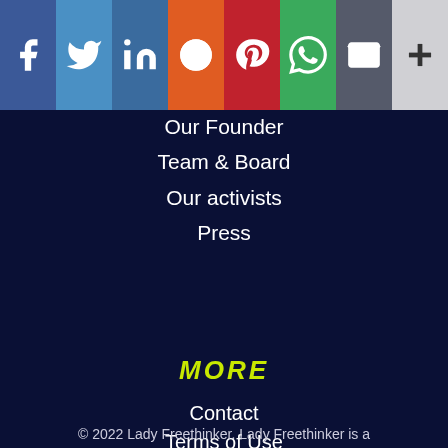[Figure (screenshot): Social media sharing buttons bar at top: Facebook (blue), Twitter (light blue), LinkedIn (steel blue), Reddit (orange), Pinterest (red), WhatsApp (green), Email (dark gray), Plus/More (light gray)]
Our Founder
Team & Board
Our activists
Press
MORE
Contact
Terms of Use
Privacy Notice
FAQs
© 2022 Lady Freethinker. Lady Freethinker is a